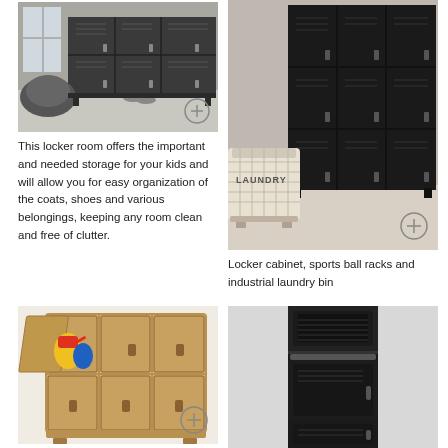[Figure (photo): Room with dark metal lockers against wall, bean bag chair on floor, window in background]
This locker room offers the important and needed storage for your kids and will allow you for easy organization of the coats, shoes and various belongings, keeping any room clean and free of clutter.
[Figure (photo): Black metal locker cabinet with laundry basket labeled LAUNDRY in front]
Locker cabinet, sports ball racks and industrial laundry bin
[Figure (photo): Wooden children's locker unit with colorful toys inside open compartment]
[Figure (photo): Tall black metal locker cabinet with drawer and compartments]